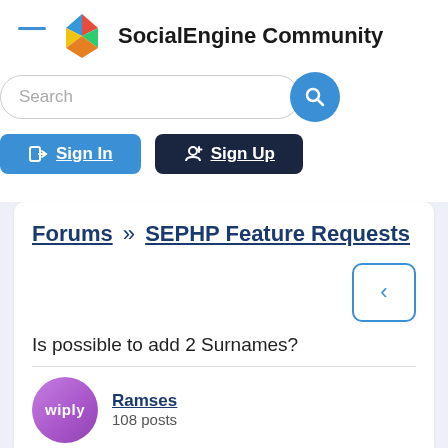SocialEngine Community
Search
Sign In  Sign Up
Forums » SEPHP Feature Requests
Is possible to add 2 Surnames?
Ramses
108 posts